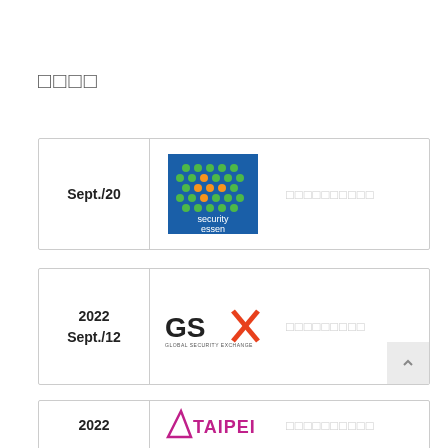□□□□
[Figure (other): Card row with Security Essen logo, date Sept./20, and redacted text]
[Figure (other): Card row with GSX Global Security Exchange logo, date 2022 Sept./12, and redacted text]
[Figure (other): Card row with Taipei logo, date 2022, and redacted text (partially visible)]